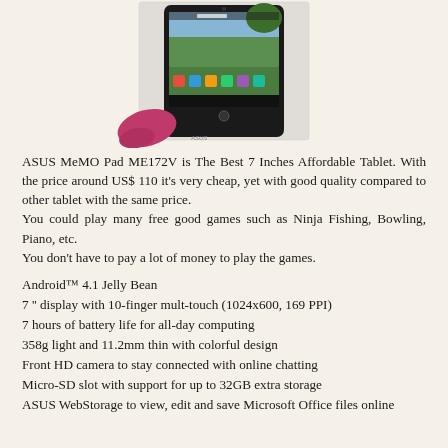[Figure (photo): ASUS MeMO Pad ME172V tablet device shown with a pink/magenta cover, displaying a home screen with apps and date Jan 6.]
ASUS MeMO Pad ME172V is The Best 7 Inches Affordable Tablet. With the price around US$ 110 it's very cheap, yet with good quality compared to other tablet with the same price.
You could play many free good games such as Ninja Fishing, Bowling, Piano, etc.
You don't have to pay a lot of money to play the games.
Android™ 4.1 Jelly Bean
7 '' display with 10-finger mult-touch (1024x600, 169 PPI)
7 hours of battery life for all-day computing
358g light and 11.2mm thin with colorful design
Front HD camera to stay connected with online chatting
Micro-SD slot with support for up to 32GB extra storage
ASUS WebStorage to view, edit and save Microsoft Office files online